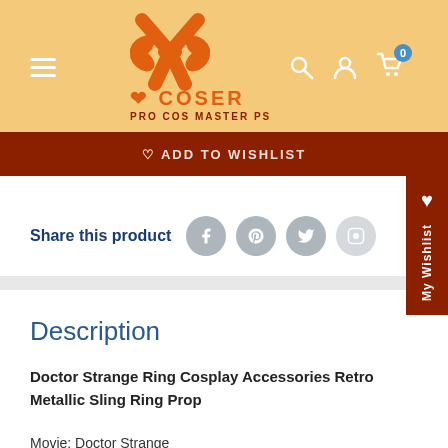XCOSER PRO COS MASTER PS
♡ ADD TO WISHLIST
Share this product
Description
Doctor Strange Ring Cosplay Accessories Retro Metallic Sling Ring Prop
Movie: Doctor Strange
Character: Doctor Strange/Stephen Vincent Strange